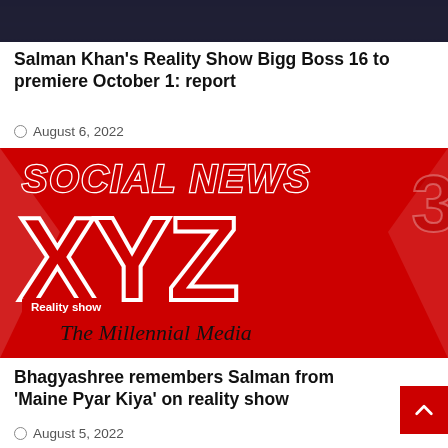[Figure (photo): Dark background image showing people, partially visible at top of page]
Salman Khan's Reality Show Bigg Boss 16 to premiere October 1: report
August 6, 2022
[Figure (logo): Social News XYZ logo on red background with 'The Millennial Media' text and 'Reality show' badge]
Bhagyashree remembers Salman from 'Maine Pyar Kiya' on reality show
August 5, 2022